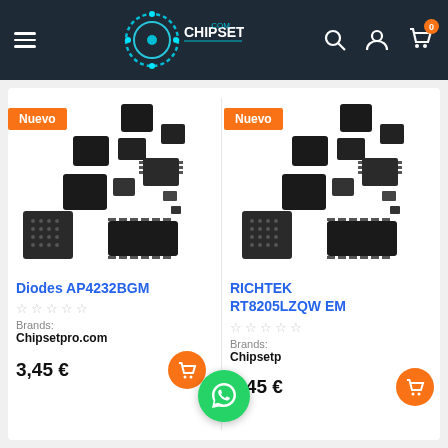[Figure (screenshot): ChipsetPro.com website header with hamburger menu, logo, search icon, account icon, and cart icon with badge showing 0]
[Figure (photo): Electronic IC chips assorted, product image for Diodes AP4232BGM, with orange 'Nuevo' badge]
Diodes AP4232BGM
Brands: Chipsetpro.com
3,45 €
[Figure (photo): Electronic IC chips assorted, product image for RICHTEK RT8205LZQW EM, with orange 'Nuevo' badge]
RICHTEK RT8205LZQW EM
Brands: Chipsetpro.com
3,45 €